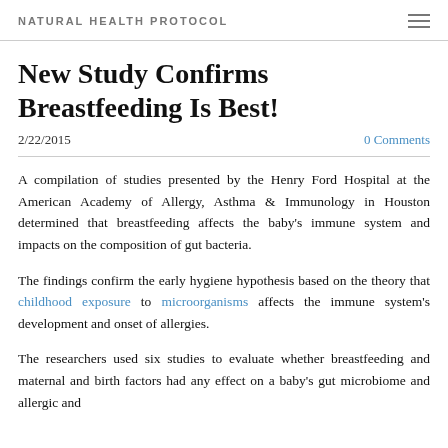NATURAL HEALTH PROTOCOL
New Study Confirms Breastfeeding Is Best!
2/22/2015    0 Comments
A compilation of studies presented by the Henry Ford Hospital at the American Academy of Allergy, Asthma & Immunology in Houston determined that breastfeeding affects the baby's immune system and impacts on the composition of gut bacteria.
The findings confirm the early hygiene hypothesis based on the theory that childhood exposure to microorganisms affects the immune system's development and onset of allergies.
The researchers used six studies to evaluate whether breastfeeding and maternal and birth factors had any effect on a baby's gut microbiome and allergic and